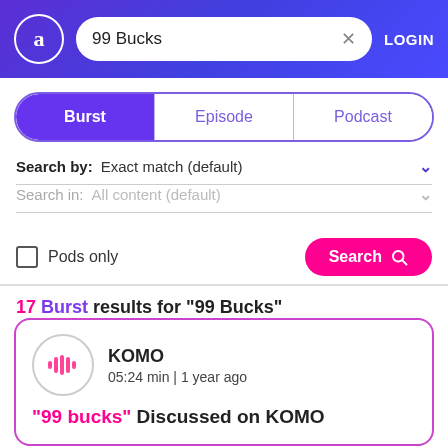99 Bucks — LOGIN
Burst | Episode | Podcast
Search by: Exact match (default)
Search in: All content (default)
Pods only   Search
17 Burst results for "99 Bucks"
KOMO
05:24 min | 1 year ago
"99 bucks" Discussed on KOMO